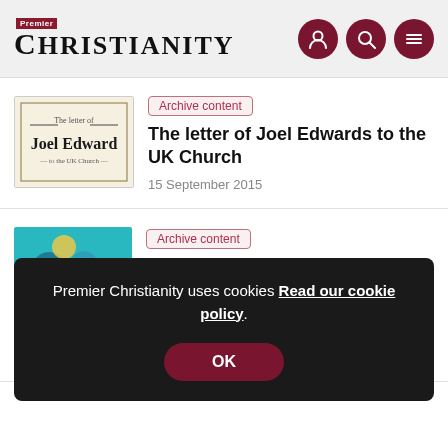Premier Christianity
[Figure (screenshot): Thumbnail image for 'The letter of Joel Edwards to the UK Church' article — beige/cream background with ornate black text]
Archive content
The letter of Joel Edwards to the UK Church
15 September 2015
[Figure (illustration): Colorful illustration thumbnail for 'Some things never change' article — teal background with figures]
Archive content
Some things never change
15 September 2015
Premier Christianity uses cookies Read our cookie policy.
OK